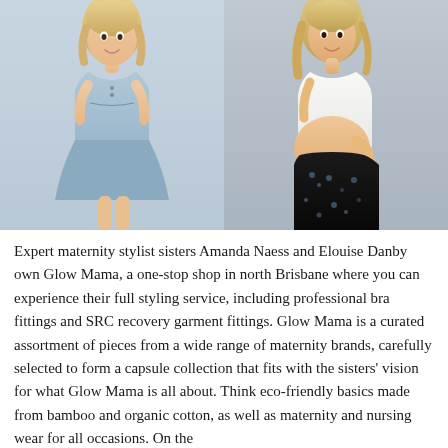[Figure (photo): Two maternity fashion photos side by side. Left: a blonde woman wearing a light blue sleeveless maternity dress with button detail. Right: a pregnant blonde woman wearing a white sleeveless top with a black floral maternity skirt, holding her baby bump.]
Expert maternity stylist sisters Amanda Naess and Elouise Danby own Glow Mama, a one-stop shop in north Brisbane where you can experience their full styling service, including professional bra fittings and SRC recovery garment fittings. Glow Mama is a curated assortment of pieces from a wide range of maternity brands, carefully selected to form a capsule collection that fits with the sisters' vision for what Glow Mama is all about. Think eco-friendly basics made from bamboo and organic cotton, as well as maternity and nursing wear for all occasions. On the